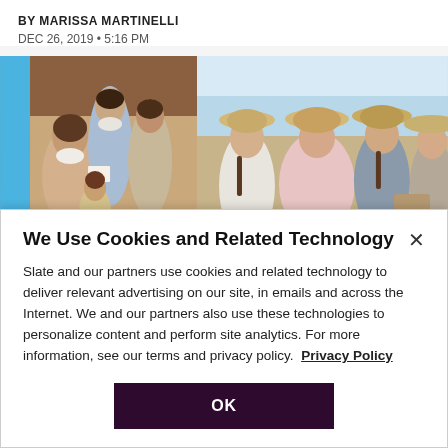BY MARISSA MARTINELLI
DEC 26, 2019 • 5:16 PM
[Figure (photo): Composite image: left side shows a painted illustration of several women in 19th-century dress gathered around reading a letter; right side shows a photograph of four young women in period costumes wearing wide-brimmed hats outdoors.]
We Use Cookies and Related Technology
Slate and our partners use cookies and related technology to deliver relevant advertising on our site, in emails and across the Internet. We and our partners also use these technologies to personalize content and perform site analytics. For more information, see our terms and privacy policy. Privacy Policy
OK